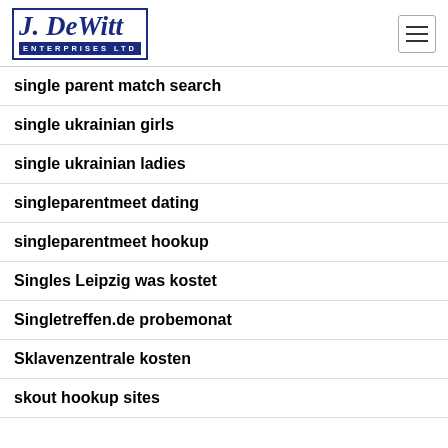[Figure (logo): J. DeWitt Enterprises Ltd logo in dark blue italic script with 'ENTERPRISES LTD' in a blue banner below]
single parent match search
single ukrainian girls
single ukrainian ladies
singleparentmeet dating
singleparentmeet hookup
Singles Leipzig was kostet
Singletreffen.de probemonat
Sklavenzentrale kosten
skout hookup sites